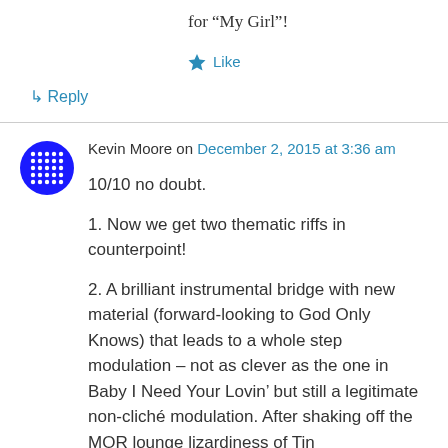for “My Girl”!
★ Like
↳ Reply
Kevin Moore on December 2, 2015 at 3:36 am
10/10 no doubt.
1. Now we get two thematic riffs in counterpoint!
2. A brilliant instrumental bridge with new material (forward-looking to God Only Knows) that leads to a whole step modulation – not as clever as the one in Baby I Need Your Lovin’ but still a legitimate non-cliché modulation. After shaking off the MOR lounge lizardiness of Tin